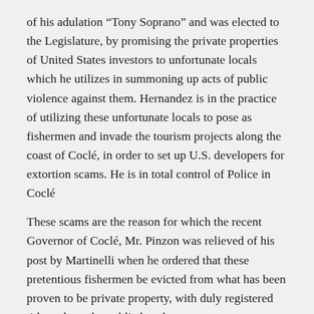of his adulation “Tony Soprano” and was elected to the Legislature, by promising the private properties of United States investors to unfortunate locals which he utilizes in summoning up acts of public violence against them. Hernandez is in the practice of utilizing these unfortunate locals to pose as fishermen and invade the tourism projects along the coast of Coclé, in order to set up U.S. developers for extortion scams. He is in total control of Police in Coclé
These scams are the reason for which the recent Governor of Coclé, Mr. Pinzon was relieved of his post by Martinelli when he ordered that these pretentious fishermen be evicted from what has been proven to be private property, with duly registered title and not the public beach.
Among other wrong doings of De La Guardia, is that he gave away State owned properties to a group of squatters installed by “Tony Soprano” on a beach, in front of a property which he was developing, in order that they would vacate the area. Reason for which he now does all, that “Tony” commands!